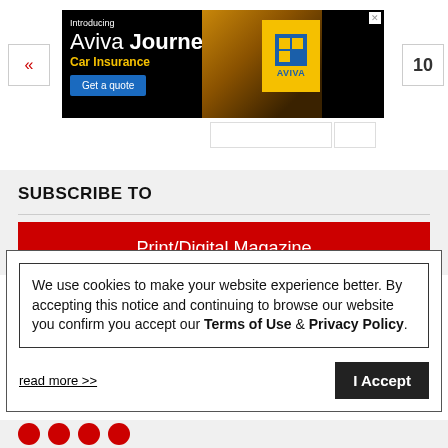[Figure (screenshot): Aviva Journey Car Insurance advertisement banner with text 'Introducing Aviva Journey Car Insurance' and 'Get a quote' button, showing a woman driving a car and Aviva logo on yellow background]
10
SUBSCRIBE TO
Print/Digital Magazine
We use cookies to make your website experience better. By accepting this notice and continuing to browse our website you confirm you accept our Terms of Use & Privacy Policy.
read more >>
I Accept